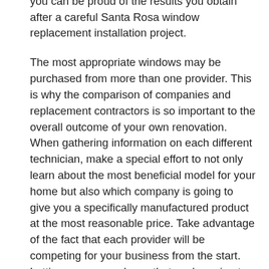adequate understanding of CA windows and you can be proud of the results you obtain after a careful Santa Rosa window replacement installation project.
The most appropriate windows may be purchased from more than one provider. This is why the comparison of companies and replacement contractors is so important to the overall outcome of your own renovation. When gathering information on each different technician, make a special effort to not only learn about the most beneficial model for your home but also which company is going to give you a specifically manufactured product at the most reasonable price. Take advantage of the fact that each provider will be competing for your business from the start. Letting a company know that you're going to wait and receive offers from other providers will let them know that you will not be suckered into purchasing a Santa Rosa window replacement unit spontaneously. Making this small detail known from the beginning will